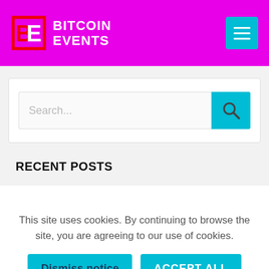BITCOIN EVENTS
[Figure (screenshot): Search bar with cyan search button and magnifying glass icon]
RECENT POSTS
This site uses cookies. By continuing to browse the site, you are agreeing to our use of cookies.
Dismiss notice | ACCEPT ALL